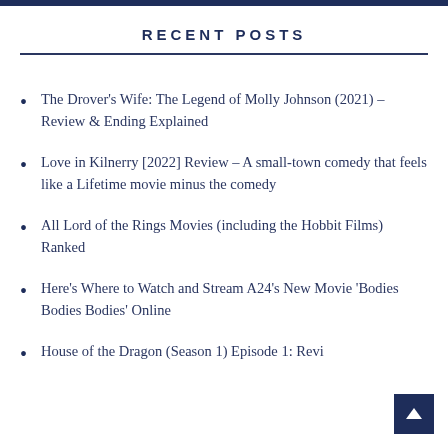RECENT POSTS
The Drover's Wife: The Legend of Molly Johnson (2021) – Review & Ending Explained
Love in Kilnerry [2022] Review – A small-town comedy that feels like a Lifetime movie minus the comedy
All Lord of the Rings Movies (including the Hobbit Films) Ranked
Here's Where to Watch and Stream A24's New Movie 'Bodies Bodies Bodies' Online
House of the Dragon (Season 1) Episode 1: Revi…